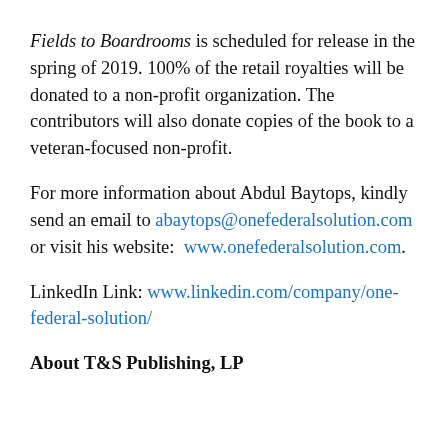Fields to Boardrooms is scheduled for release in the spring of 2019. 100% of the retail royalties will be donated to a non-profit organization. The contributors will also donate copies of the book to a veteran-focused non-profit.
For more information about Abdul Baytops, kindly send an email to abaytops@onefederalsolution.com or visit his website: www.onefederalsolution.com.
LinkedIn Link: www.linkedin.com/company/one-federal-solution/
About T&S Publishing, LP